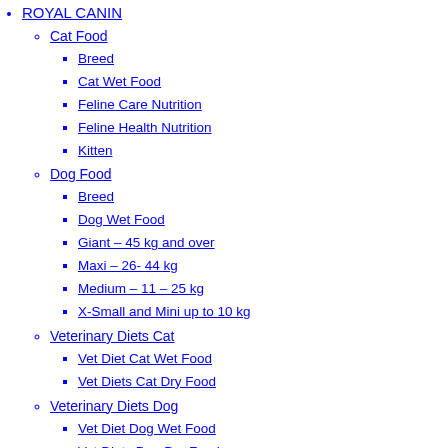ROYAL CANIN
Cat Food
Breed
Cat Wet Food
Feline Care Nutrition
Feline Health Nutrition
Kitten
Dog Food
Breed
Dog Wet Food
Giant – 45 kg and over
Maxi – 26- 44 kg
Medium – 11 – 25 kg
X-Small and Mini up to 10 kg
Veterinary Diets Cat
Vet Diet Cat Wet Food
Vet Diets Cat Dry Food
Veterinary Diets Dog
Vet Diet Dog Wet Food
Vet Diets Dog Dry Food
Supplements
DOG
Bedding
Ingrid and Isabel Bellaband
Caves